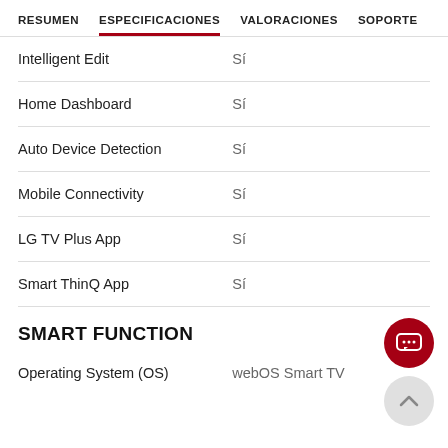RESUMEN   ESPECIFICACIONES   VALORACIONES   SOPORTE
| Feature | Value |
| --- | --- |
| Intelligent Edit | Sí |
| Home Dashboard | Sí |
| Auto Device Detection | Sí |
| Mobile Connectivity | Sí |
| LG TV Plus App | Sí |
| Smart ThinQ App | Sí |
SMART FUNCTION
| Feature | Value |
| --- | --- |
| Operating System (OS) | webOS Smart TV |